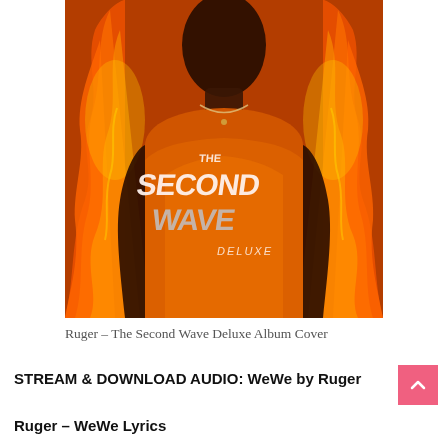[Figure (photo): Album cover for Ruger – The Second Wave Deluxe. A young Black man wearing an orange t-shirt with 'THE SECOND WAVE DELUXE' written in silver/white stylized lettering, surrounded by orange and yellow flames on a dark background.]
Ruger – The Second Wave Deluxe Album Cover
STREAM & DOWNLOAD AUDIO: WeWe by Ruger
Ruger – WeWe Lyrics